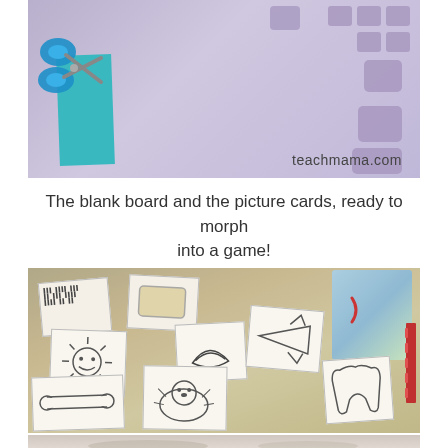[Figure (photo): Photo of a blank board game with rounded square spaces and blue scissors on a teal strip, with teachmama.com watermark in the lower right]
The blank board and the picture cards, ready to morph into a game!
[Figure (photo): Photo of picture cards scattered on a table showing various drawn images including sun, dinosaur, and other illustrated cards]